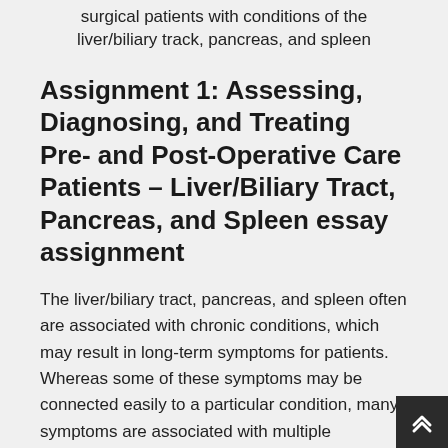surgical patients with conditions of the liver/biliary track, pancreas, and spleen
Assignment 1: Assessing, Diagnosing, and Treating Pre- and Post-Operative Care Patients – Liver/Biliary Tract, Pancreas, and Spleen essay assignment
The liver/biliary tract, pancreas, and spleen often are associated with chronic conditions, which may result in long-term symptoms for patients. Whereas some of these symptoms may be connected easily to a particular condition, many symptoms are associated with multiple conditions, making an immediate diagnosis...